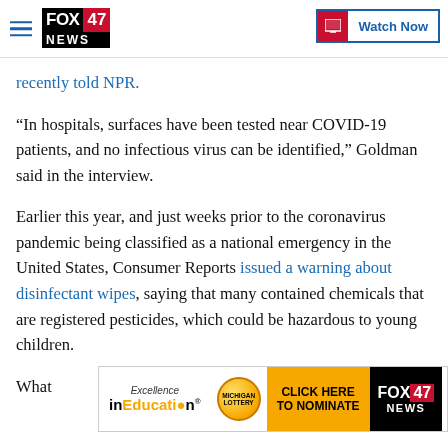FOX 47 NEWS | Watch Now
recently told NPR.
“In hospitals, surfaces have been tested near COVID-19 patients, and no infectious virus can be identified,” Goldman said in the interview.
Earlier this year, and just weeks prior to the coronavirus pandemic being classified as a national emergency in the United States, Consumer Reports issued a warning about disinfectant wipes, saying that many contained chemicals that are registered pesticides, which could be hazardous to young children.
[Figure (other): Advertisement banner: Excellence in Education, Michigan Lottery, Click Here to Nominate, Fox 47 News logo]
What